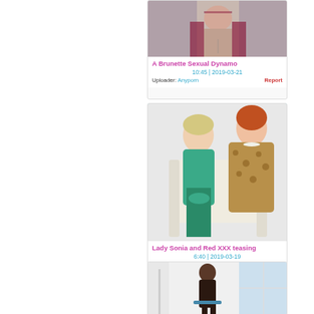[Figure (photo): Partial view of a woman in dark lingerie showing midriff, cropped at top]
A Brunette Sexual Dynamo
10:45 | 2019-03-21
Uploader: Anyporn   Report
[Figure (photo): Two older women on a white sofa — one blonde in teal blouse, one redhead in leopard print]
Lady Sonia and Red XXX teasing
6:40 | 2019-03-19
Uploader: Anyporn   Report
[Figure (photo): Woman in dark lingerie in bright white room with large window, partially visible]